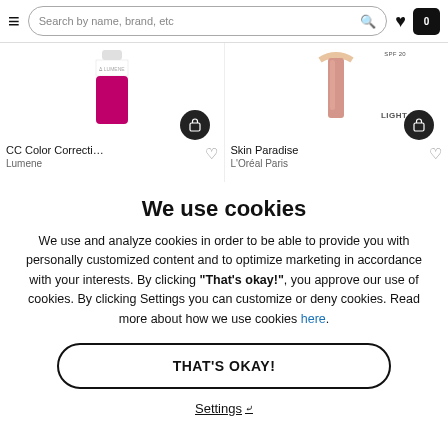Search by name, brand, etc
[Figure (screenshot): Product listing showing CC Color Correcting C... by Lumene and Skin Paradise by L'Oréal Paris with add-to-cart and wishlist buttons]
We use cookies
We use and analyze cookies in order to be able to provide you with personally customized content and to optimize marketing in accordance with your interests. By clicking "That's okay!", you approve our use of cookies. By clicking Settings you can customize or deny cookies. Read more about how we use cookies here.
THAT'S OKAY!
Settings